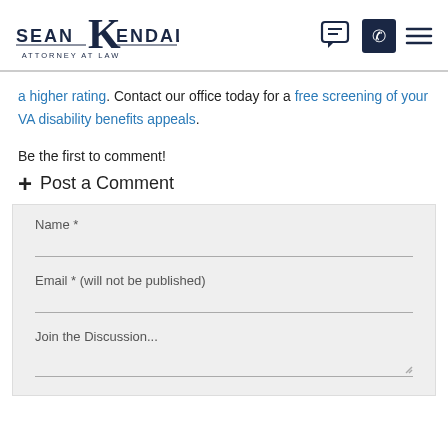Sean Kendall Attorney at Law
a higher rating. Contact our office today for a free screening of your VA disability benefits appeals.
Be the first to comment!
+ Post a Comment
Name * [form field]
Email * (will not be published) [form field]
Join the Discussion... [form textarea]